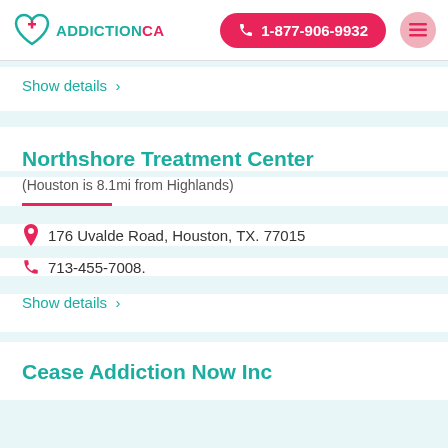ADDICTIONCA | 1-877-906-9932
Show details >
Northshore Treatment Center
(Houston is 8.1mi from Highlands)
176 Uvalde Road, Houston, TX. 77015
713-455-7008.
Show details >
Cease Addiction Now Inc